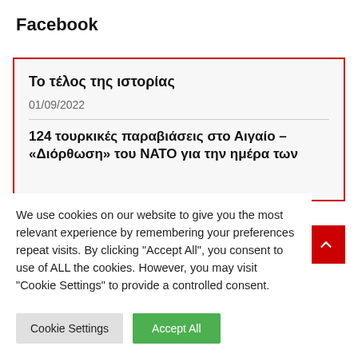Facebook
Το τέλος της ιστορίας
01/09/2022
124 τουρκικές παραβιάσεις στο Αιγαίο – «Διόρθωση» του ΝΑΤΟ για την ημέρα των
We use cookies on our website to give you the most relevant experience by remembering your preferences repeat visits. By clicking "Accept All", you consent to use of ALL the cookies. However, you may visit "Cookie Settings" to provide a controlled consent.
Cookie Settings
Accept All